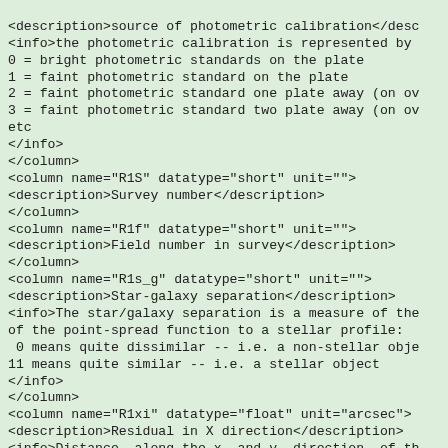<column name="R1c" datatype="short" unit="">
<description>source of photometric calibration</description>
<info>the photometric calibration is represented by
0 = bright photometric standards on the plate
1 = faint photometric standard on the plate
2 = faint photometric standard one plate away (on ov
3 = faint photometric standard two plate away (on ov
etc
</info>
</column>
<column name="R1S" datatype="short" unit="">
<description>Survey number</description>
</column>
<column name="R1f" datatype="short" unit="">
<description>Field number in survey</description>
</column>
<column name="R1s_g" datatype="short" unit="">
<description>Star-galaxy separation</description>
<info>The star/galaxy separation is a measure of the
of the point-spread function to a stellar profile:
 0 means quite dissimilar -- i.e. a non-stellar obje
11 means quite similar -- i.e. a stellar object
</info>
</column>
<column name="R1xi" datatype="float" unit="arcsec">
<description>Residual in X direction</description>
<info>Distance, along the x- and y- direction, of th
position compared to the mean epoch.
</info>
</column>
<column name="R1eta" datatype="float" unit="arcsec">
<description>Residual in Y direction</description>
<info>Distance, along the x- and y- direction, of th